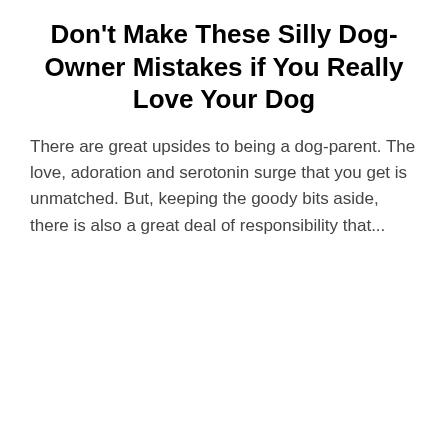Don't Make These Silly Dog-Owner Mistakes if You Really Love Your Dog
There are great upsides to being a dog-parent. The love, adoration and serotonin surge that you get is unmatched. But, keeping the goody bits aside, there is also a great deal of responsibility that...